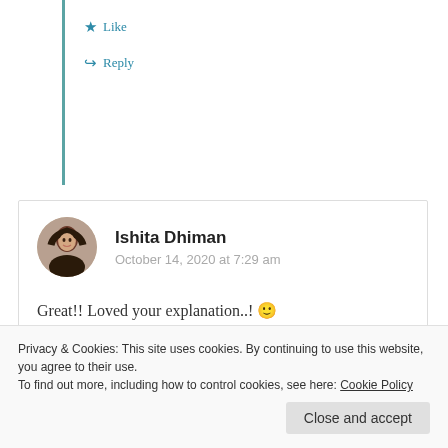thoughts 😊
★ Like
↪ Reply
[Figure (photo): Circular avatar photo of Ishita Dhiman]
Ishita Dhiman
October 14, 2020 at 7:29 am
Great!! Loved your explanation..! 🙂
★ Liked by 1 person
Privacy & Cookies: This site uses cookies. By continuing to use this website, you agree to their use.
To find out more, including how to control cookies, see here: Cookie Policy
Close and accept